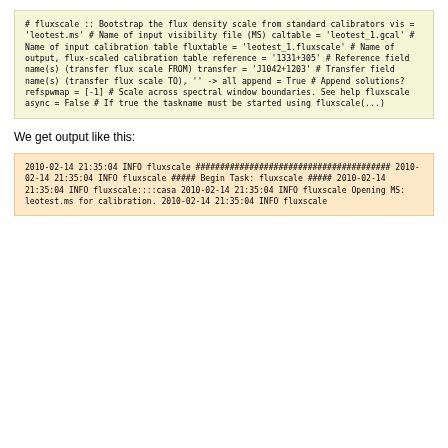#  fluxscale :: Bootstrap the flux density scale from standard calibrators
vis                 = 'leotest.ms'      #  Name of input visibility file (MS)
caltable            = 'leotest_1.gcal'  #  Name of input calibration table
fluxtable           = 'leotest_1.fluxscale' #  Name of output, flux-scaled calibration table
reference           = '1331+305'        #  Reference field name(s) (transfer flux scale FROM)
transfer            = 'J1042+1203'      #  Transfer field name(s) (transfer flux scale TO), '' -> all
append              =       True        #  Append solutions?
refspwmap           =       [-1]        #  Scale across spectral window boundaries.  See help fluxscale
async               =       False       #  If true the taskname must be started using fluxscale(...)
We get output like this:
2010-02-14 21:35:04 INFO fluxscale
########################################
2010-02-14 21:35:04 INFO fluxscale        ##### Begin Task: fluxscale          #####
2010-02-14 21:35:04 INFO       fluxscale::::casa
2010-02-14 21:35:04 INFO fluxscale       Opening MS: leotest.ms for calibration.
2010-02-14 21:35:04 INFO fluxscale